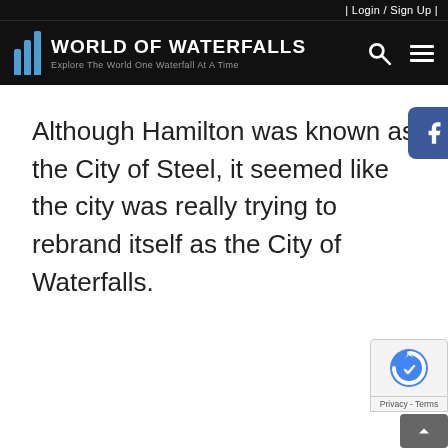| Login / Sign Up |
[Figure (logo): World of Waterfalls logo with blue waterfall lines and text: WORLD OF WATERFALLS — Explore The World One Waterfall At A Time. Search and menu icons on right.]
[Figure (other): Social media share icons: Facebook, Twitter, Instagram, Pinterest, YouTube, RSS]
Although Hamilton was known as the City of Steel, it seemed like the city was really trying to rebrand itself as the City of Waterfalls.
[Figure (other): reCAPTCHA badge with Privacy - Terms label and scroll-to-top arrow button]